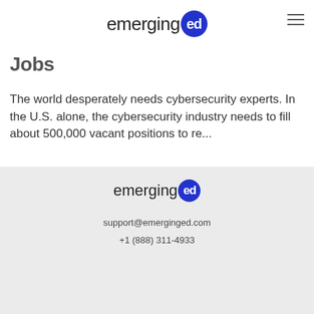emerginged
Jobs
The world desperately needs cybersecurity experts. In the U.S. alone, the cybersecurity industry needs to fill about 500,000 vacant positions to re...
[Figure (logo): Social media icons: Facebook, Twitter, LinkedIn in gray]
emerginged | support@emerginged.com | +1 (888) 311-4933